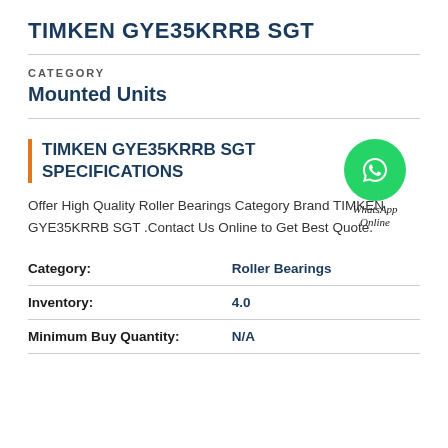TIMKEN GYE35KRRB SGT
CATEGORY
Mounted Units
TIMKEN GYE35KRRB SGT SPECIFICATIONS
Offer High Quality Roller Bearings Category Brand TIMKEN GYE35KRRB SGT .Contact Us Online to Get Best Quote.
| Field | Value |
| --- | --- |
| Category: | Roller Bearings |
| Inventory: | 4.0 |
| Minimum Buy Quantity: | N/A |